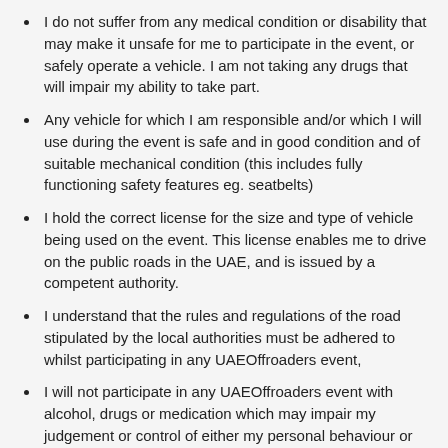I do not suffer from any medical condition or disability that may make it unsafe for me to participate in the event, or safely operate a vehicle. I am not taking any drugs that will impair my ability to take part.
Any vehicle for which I am responsible and/or which I will use during the event is safe and in good condition and of suitable mechanical condition (this includes fully functioning safety features eg. seatbelts)
I hold the correct license for the size and type of vehicle being used on the event. This license enables me to drive on the public roads in the UAE, and is issued by a competent authority.
I understand that the rules and regulations of the road stipulated by the local authorities must be adhered to whilst participating in any UAEOffroaders event,
I will not participate in any UAEOffroaders event with alcohol, drugs or medication which may impair my judgement or control of either my personal behaviour or my control over my vehicle this includes transportation and consumption of these items.
During UAEOffroaders trips people take videos and photographs, please be informed that you could be